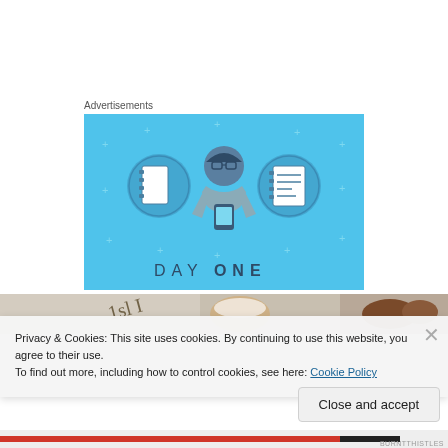Advertisements
[Figure (illustration): Day One app advertisement on blue background showing a person holding a phone flanked by two notebook/journal icons, with 'DAY ONE' text at the bottom]
[Figure (photo): Photo strip showing food items including what appears to be pecans and handwritten text]
Privacy & Cookies: This site uses cookies. By continuing to use this website, you agree to their use.
To find out more, including how to control cookies, see here: Cookie Policy